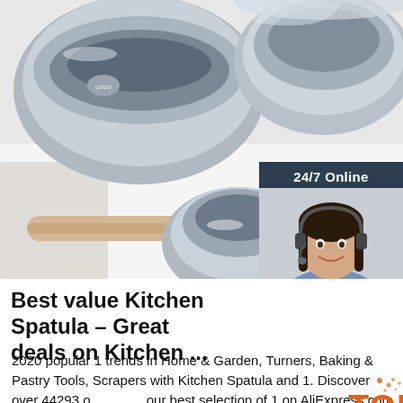[Figure (photo): Stainless steel mixing bowls of various sizes on a white surface with a wooden rolling pin and vegetables (tomato, green pepper) in background. A customer service chat widget is overlaid on the right side showing '24/7 Online', a smiling woman with headset, 'Click here for free chat!' text and an orange QUOTATION button.]
Best value Kitchen Spatula – Great deals on Kitchen ...
2020 popular 1 trends in Home & Garden, Turners, Baking & Pastry Tools, Scrapers with Kitchen Spatula and 1. Discover over 44293 of our best selection of 1 on AliExpress.com with top selling 1 brands. Shop the top 25 most...